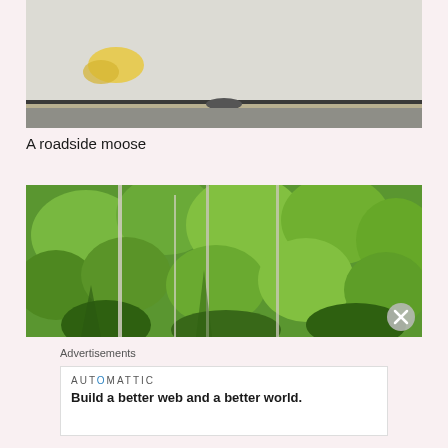[Figure (photo): Close-up view through a car windshield showing road surface and car dashboard/hood edge, with a yellow marking visible on the road]
A roadside moose
[Figure (photo): Dense green forest of spruce and conifer trees viewed from roadside, with tall slim bare tree trunks visible among the foliage]
Advertisements
AUTOMATTIC
Build a better web and a better world.